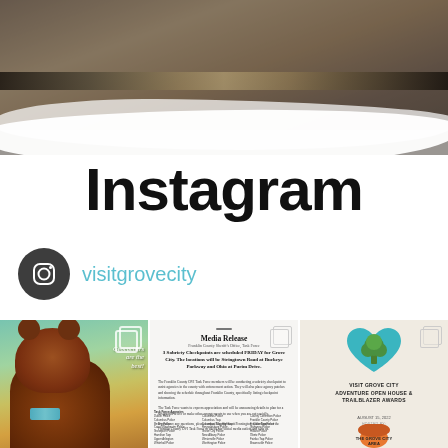[Figure (photo): Dark background photo of hands working at a desk, with a paintbrush-stroke white overlay at the bottom]
Instagram
visitgrovecity
[Figure (photo): Instagram thumbnail 1: brown stuffed animal toy with blue bow tie on colorful background with text]
[Figure (screenshot): Instagram thumbnail 2: Media Release document about Curbside Checkpoints scheduled for Grove City, with task force agenda]
[Figure (infographic): Instagram thumbnail 3: Visit Grove City Adventure Open House & Trailblazer Awards event flyer, August 15, 2022, hosted by The Grove City Area]